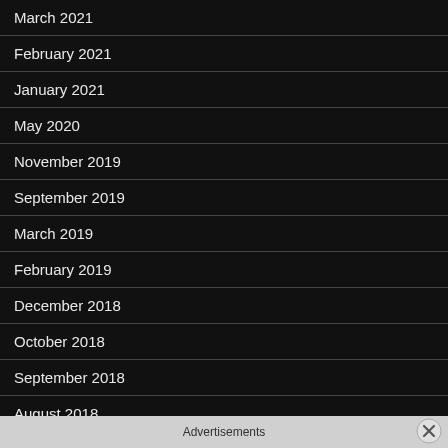March 2021
February 2021
January 2021
May 2020
November 2019
September 2019
March 2019
February 2019
December 2018
October 2018
September 2018
August 2018
Advertisements